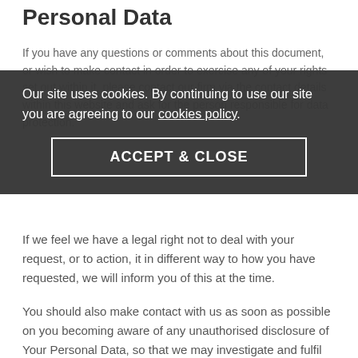Personal Data
If you have any questions or comments about this document, or wish to make contact in order to exercise any of your rights set out within it, please contact our firm via the contact details within this website and ask for the person responsible for data protection.
Our site uses cookies. By continuing to use our site you are agreeing to our cookies policy.
ACCEPT & CLOSE
If we feel we have a legal right not to deal with your request, or to action, it in different way to how you have requested, we will inform you of this at the time.
You should also make contact with us as soon as possible on you becoming aware of any unauthorised disclosure of Your Personal Data, so that we may investigate and fulfil our own regulatory obligations.
If you have any concerns or complaints as to how we have handled Your Personal Data you may lodge a complaint with the UK's data protection regulator, the